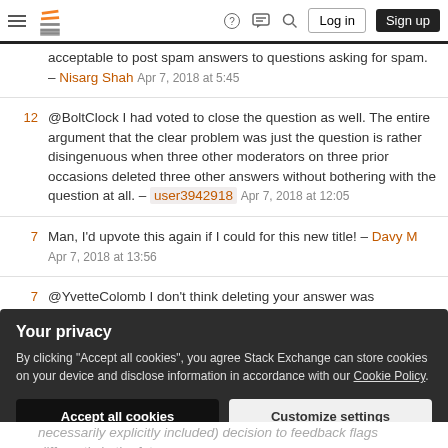Stack Exchange navigation bar with hamburger menu, logo, help icon, chat icon, search icon, Log in button, Sign up button
acceptable to post spam answers to questions asking for spam. – Nisarg Shah Apr 7, 2018 at 5:45
12 @BoltClock I had voted to close the question as well. The entire argument that the clear problem was just the question is rather disingenuous when three other moderators on three prior occasions deleted three other answers without bothering with the question at all. – user3942918 Apr 7, 2018 at 12:05
7 Man, I'd upvote this again if I could for this new title! – Davy M Apr 7, 2018 at 13:56
7 @YvetteColomb I don't think deleting your answer was
Your privacy
By clicking "Accept all cookies", you agree Stack Exchange can store cookies on your device and disclose information in accordance with our Cookie Policy.
Accept all cookies  Customize settings
necessarily explicitly included) decision to feedback flags differently in the future.